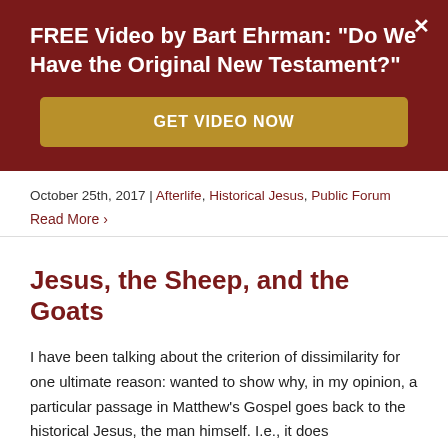FREE Video by Bart Ehrman: "Do We Have the Original New Testament?"
GET VIDEO NOW
October 25th, 2017 | Afterlife, Historical Jesus, Public Forum
Read More ›
Jesus, the Sheep, and the Goats
I have been talking about the criterion of dissimilarity for one ultimate reason: wanted to show why, in my opinion, a particular passage in Matthew's Gospel goes back to the historical Jesus, the man himself. I.e., it does